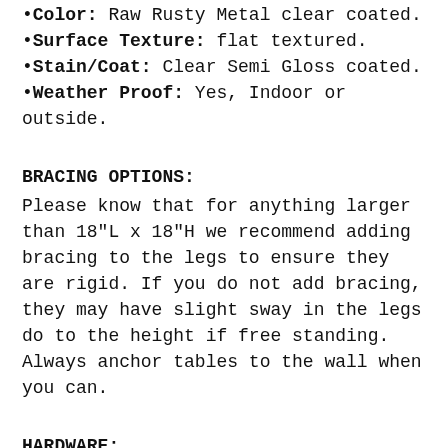•Color: Raw Rusty Metal clear coated.
•Surface Texture: flat textured.
•Stain/Coat: Clear Semi Gloss coated.
•Weather Proof: Yes, Indoor or outside.
BRACING OPTIONS:
Please know that for anything larger than 18"L x 18"H we recommend adding bracing to the legs to ensure they are rigid. If you do not add bracing, they may have slight sway in the legs do to the height if free standing. Always anchor tables to the wall when you can.
HARDWARE:
***Mounting Screws NOT INCLUDED, because every project is different... You need to use appropriate hardware for your project.***